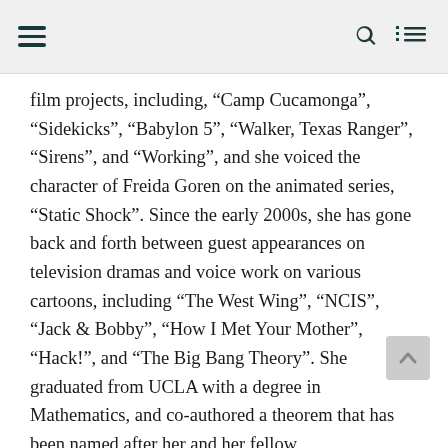film projects, including, “Camp Cucamonga”, “Sidekicks”, “Babylon 5”, “Walker, Texas Ranger”, “Sirens”, and “Working”, and she voiced the character of Freida Goren on the animated series, “Static Shock”. Since the early 2000s, she has gone back and forth between guest appearances on television dramas and voice work on various cartoons, including “The West Wing”, “NCIS”, “Jack & Bobby”, “How I Met Your Mother”, “Hack!”, and “The Big Bang Theory”. She graduated from UCLA with a degree in Mathematics, and co-authored a theorem that has been named after her and her fellow mathematicians. She also authored the New York Times bestselling book, “Math Doesn’t Suck: How to Survive Middle-School Math without Losing Your Mind or Breaking a Nail”.
Net Worth Stats and